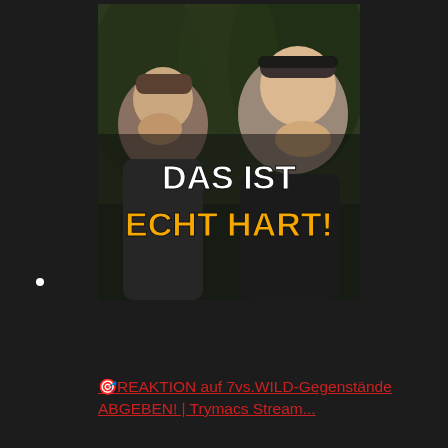[Figure (photo): YouTube thumbnail showing two men with expressions of distress/shock. Bold text overlay reads 'DAS IST ECHT HART!' in white and yellow/orange on a dark/outdoor background.]
•
🎯REAKTION auf 7vs.WILD-Gegenstände ABGEBEN! | Trymacs Stream...